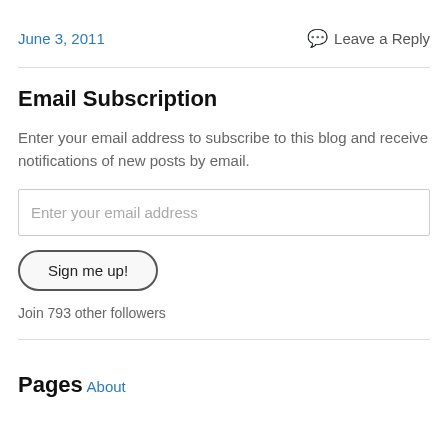June 3, 2011
Leave a Reply
Email Subscription
Enter your email address to subscribe to this blog and receive notifications of new posts by email.
Enter your email address
Sign me up!
Join 793 other followers
Pages
About